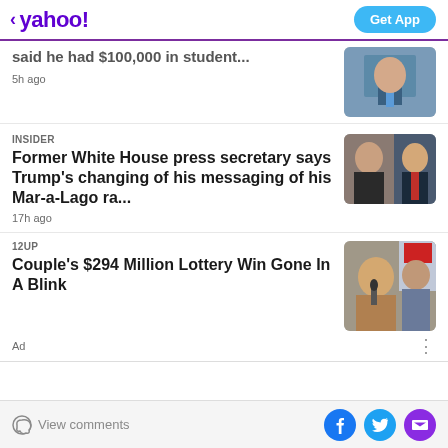< yahoo! | Get App
said he had $100,000 in student... | 5h ago
INSIDER
Former White House press secretary says Trump's changing of his messaging of his Mar-a-Lago ra...
17h ago
12Up
Couple's $294 Million Lottery Win Gone In A Blink
Ad
View comments | Facebook | Twitter | Mail